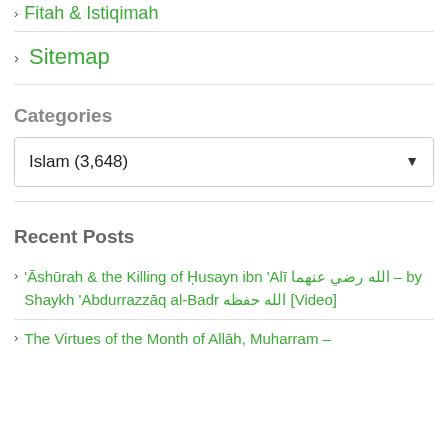Fitah & Istiqimah
Sitemap
Categories
Islam (3,648)
Recent Posts
'Āshūrah & the Killing of Ḥusayn ibn 'Alī الله رضي عنهما – by Shaykh 'Abdurrazzāq al-Badr الله حفظه [Video]
The Virtues of the Month of Allāh, Muharram –